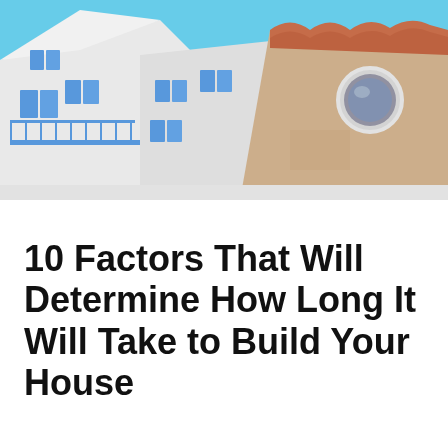[Figure (photo): Upward-angle photograph of Mediterranean-style white and terracotta buildings with blue shutters, blue balcony railings, and a bright blue sky background]
10 Factors That Will Determine How Long It Will Take to Build Your House